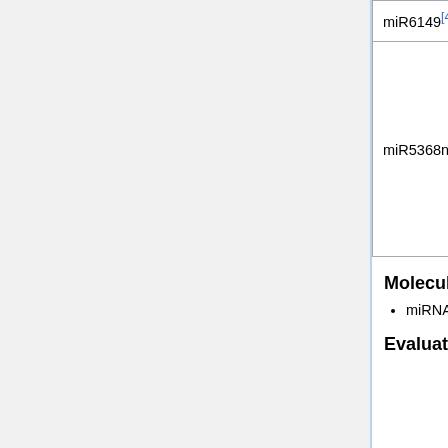| miR6149[4] | miR6149 | by Ectropis oblique and U4 |
| miR5368n[4] | miR5368n | • Methyl jasmonate (MeJA) Treatment
• Salicylic acid (SA) Treatment
• Abscisic acid (ABA) Treatment |
Moleculer Type
miRNA
Evaluation Methods